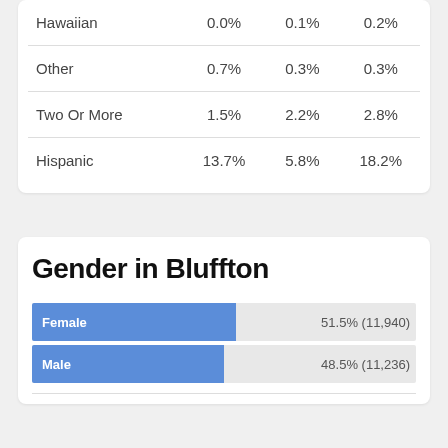|  | Col1 | Col2 | Col3 |
| --- | --- | --- | --- |
| Hawaiian | 0.0% | 0.1% | 0.2% |
| Other | 0.7% | 0.3% | 0.3% |
| Two Or More | 1.5% | 2.2% | 2.8% |
| Hispanic | 13.7% | 5.8% | 18.2% |
Gender in Bluffton
[Figure (bar-chart): Gender in Bluffton]